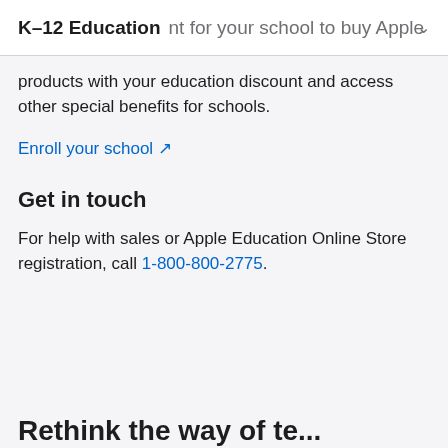K–12 Education nt for your school to buy Apple
products with your education discount and access other special benefits for schools.
Enroll your school ↗
Get in touch
For help with sales or Apple Education Online Store registration, call 1-800-800-2775.
Rethink the way of teaching...